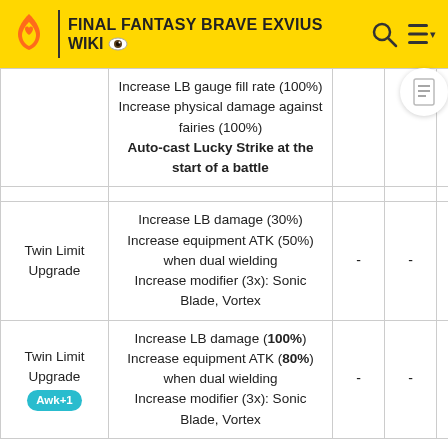FINAL FANTASY BRAVE EXVIUS WIKI
| Name | Effect | - | - |  |
| --- | --- | --- | --- | --- |
|  | Increase LB gauge fill rate (100%)
Increase physical damage against fairies (100%)
Auto-cast Lucky Strike at the start of a battle |  |  |  |
|  |  |  |  |  |
| Twin Limit Upgrade | Increase LB damage (30%)
Increase equipment ATK (50%) when dual wielding
Increase modifier (3x): Sonic Blade, Vortex | - | - |  |
| Twin Limit Upgrade [Awk+1] | Increase LB damage (100%)
Increase equipment ATK (80%) when dual wielding
Increase modifier (3x): Sonic Blade, Vortex | - | - |  |